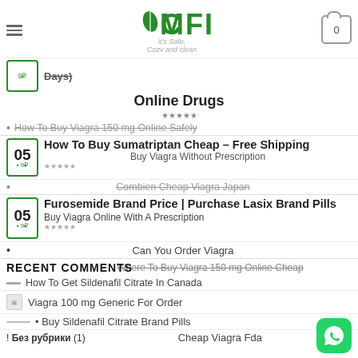COMFI - It's Safe, Cozy and clean
Days)
Online Drugs
How To Buy Viagra 150 mg Online Safely (strikethrough)
05 • 9₽ | How To Buy Sumatriptan Cheap – Free Shipping | Buy Viagra Without Prescription
Combien Cheap Viagra Japan
05 • 9₽ | Furosemide Brand Price | Purchase Lasix Brand Pills | Buy Viagra Online With A Prescription
Can You Order Viagra
RECENT COMMENTS
Where To Buy Viagra 150 mg Online Cheap
How To Get Sildenafil Citrate In Canada
Viagra 100 mg Generic For Order
Buy Sildenafil Citrate Brand Pills
! Без рубрики (1)
Cheap Viagra Fda